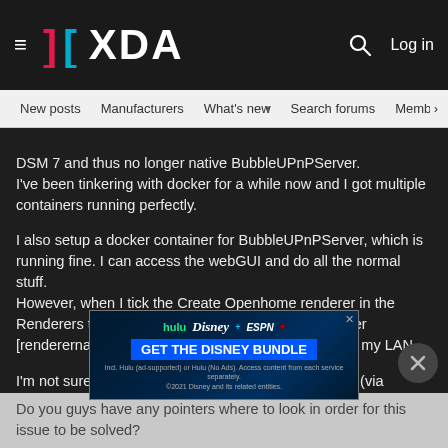XDA Developers — New posts | Manufacturers | What's new | Search forums | Members
DSM 7 and thus no longer native BubbleUPnPServer.
I've been tinkering with docker for a while now and I got multiple containers running perfectly.

I also setup a docker container for BubbleUPnPServer, which is running fine. I can access the webGUI and do all the normal stuff.
However, when I tick the Create Openhome renderer in the Renderers tab, the newly created OpenHome renderer [renderername (openhome)] isn't being advertised on my LAN.

I'm not sure what's going wrong, but both Linn Kazoo (via android and Win11) and Android BubbleUPnP control points don't see the openhome renderer.
Do you guys have any pointers where to look in order for this issue to be solved?
Thanks
[Figure (screenshot): Disney Bundle advertisement banner with Hulu, Disney+, ESPN+ logos and GET THE DISNEY BUNDLE call to action button]